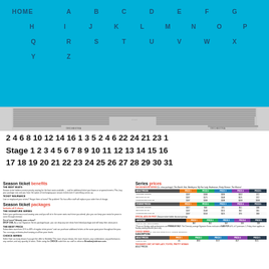HOME A B C D E F G H I J K L M N O P Q R S T U V W X Y Z
[Figure (schematic): Theater seating chart diagram showing rows and seat numbers]
2 4 6 8 10 12 14 16 1 3 5 2 4 6 22 24 21 23 1 Stage 1 2 3 4 5 6 7 8 9 10 11 12 13 14 15 16 17 18 19 20 21 22 23 24 25 26 27 28 29 30 31
Season ticket benefits
THE BEST SEATS - Season ticket holders receive priority seating for the best seats available — and for additional ticket purchases or at special events. Plus, buy your package now and you have the option of exchanging your season tickets later if something comes up.
TICKET INSURANCE - Lost or misplaced your tickets? Forgot them at home? No problem! Our box office staff will replace your order free of charge.
Season ticket packages
Includes all 5 shows
THE SIGNATURE SERIES
Select your performance and seating area and you will sit in the same seats each time you attend, plus you can keep your seats for years to come through renewal.
Out of town? Already seen a show? DROP ONE. As a true Signature Series buyer, you can drop any one show from linked package and still keep their value price.
THE BEST PRICE - Subscribers save from 15% to 40% of regular ticket prices* and can purchase additional tickets at the same great price throughout the year. You can enjoy orchestra-level seating at all five price levels.
CHOICE SERIES - Select from as many shows if you get the offer to flexibility! The more of your shows, the more choices, any combination, any performance, any number, and any quantity of seats. Order using the CHOICE code from our staff or online at Broadwayindenver.com.
Series prices
THE SIGNATURE SERIES (5+ show package): The Band's Visit, Beetlejuice, My Fair Lady, Hadestown, Pretty Woman: The Musical
| ADULT PRICES | PRICE 1 | PRICE 2 | PRICE 3 | PRICE 4 | PRICE 5 |
| --- | --- | --- | --- | --- | --- |
| "Open Date" Thursday* | $197 | $168 | $139 | $102 | $72 |
| Best Prices Tue-Sat | $197 | $175 | $148 | $121 | $72 |
| Fri/Sat New Title & Sun-Sat | $197 | $168 | $138 | $108 | $106 |
| STUDENT PRICES | PRICE 1 | PRICE 2 | PRICE 3 | PRICE 4 | PRICE 5 |
| --- | --- | --- | --- | --- | --- |
| "Open Date" Thursday* | $117 | $98 | $75 | $51 | $38 |
| Best Prices Tue-Sat | $197 | $148 | $115 | $92 | $61 |
| Fri/Sat New Title & Sun-Sat | $197 | $153 | $125 | $79 | $63 |
SPECIAL ADD-ON FIRST (Season ticket holder discount pricing)
| HAIRSPRAY | PRICE 1 | PRICE 2 | PRICE 3 | PRICE 4 | PRICE 5 |
| --- | --- | --- | --- | --- | --- |
| Prices for vana: ADULT/STUDENT | $82 | $52 | $42 | $18 | $28 |
CHOICE SERIES (5+ order gives options to select your season membership)
| ADULT PRICES | PRICE 1 | PRICE 2 | PRICE 3 | PRICE 4 | PRICE 5 |
| --- | --- | --- | --- | --- | --- |
| Prices for vana: | n/a | $182 | $157 | $127 | $111 |
THE BAND'S VISIT, MY FAIR LADY, TOVITIE, PRETTY WOMAN
ADULT PRICES